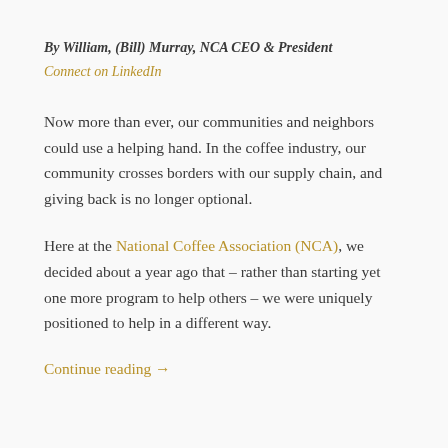By William, (Bill) Murray, NCA CEO & President
Connect on LinkedIn
Now more than ever, our communities and neighbors could use a helping hand. In the coffee industry, our community crosses borders with our supply chain, and giving back is no longer optional.
Here at the National Coffee Association (NCA), we decided about a year ago that – rather than starting yet one more program to help others – we were uniquely positioned to help in a different way.
Continue reading →